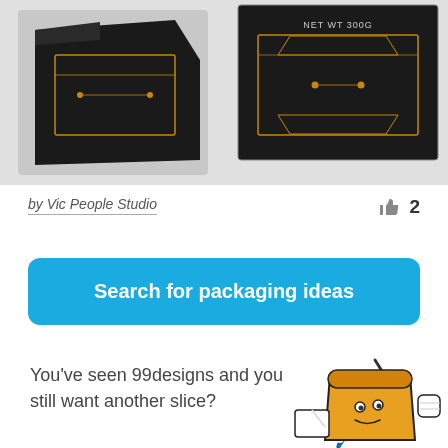[Figure (photo): Two black packaging products with gold/copper geometric design lines on grey background. Left shows a bag at an angle; right shows a flat front view with 'NET WT 300G' text.]
by Vic People Studio
2
Search for packaging ideas
You've seen 99designs and you still want another slice?
[Figure (illustration): Cartoon pizza slice character with big eyes, blue dripping sauce, holding a sign, with a raised fist, accompanied by a diagonal brush stroke.]